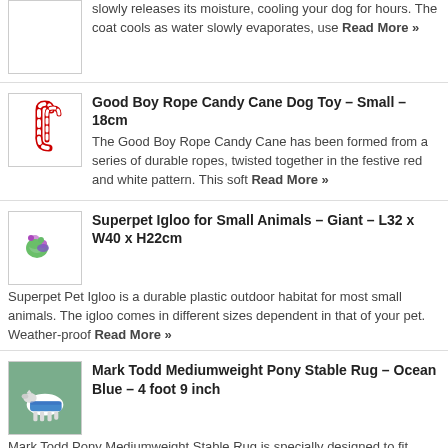slowly releases its moisture, cooling your dog for hours. The coat cools as water slowly evaporates, use Read More »
Good Boy Rope Candy Cane Dog Toy – Small – 18cm
The Good Boy Rope Candy Cane has been formed from a series of durable ropes, twisted together in the festive red and white pattern. This soft Read More »
Superpet Igloo for Small Animals – Giant – L32 x W40 x H22cm
Superpet Pet Igloo is a durable plastic outdoor habitat for most small animals. The igloo comes in different sizes dependent in that of your pet. Weather-proof Read More »
Mark Todd Mediumweight Pony Stable Rug – Ocean Blue – 4 foot 9 inch
Mark Todd Pony Mediumweight Stable Rug is specially designed to fit ponies without compromising on style or performance. It has a 210 denier outer coating and Read More »